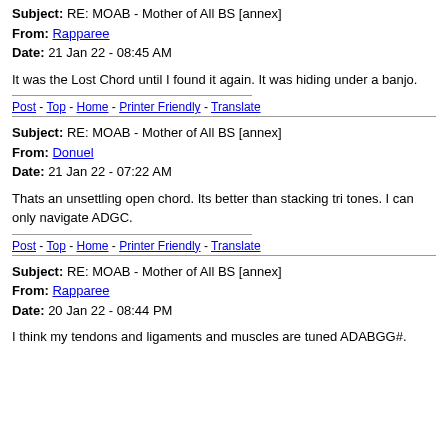Subject: RE: MOAB - Mother of All BS [annex]
From: Rapparee
Date: 21 Jan 22 - 08:45 AM
It was the Lost Chord until I found it again. It was hiding under a banjo.
Post - Top - Home - Printer Friendly - Translate
Subject: RE: MOAB - Mother of All BS [annex]
From: Donuel
Date: 21 Jan 22 - 07:22 AM
Thats an unsettling open chord. Its better than stacking tri tones. I can only navigate ADGC.
Post - Top - Home - Printer Friendly - Translate
Subject: RE: MOAB - Mother of All BS [annex]
From: Rapparee
Date: 20 Jan 22 - 08:44 PM
I think my tendons and ligaments and muscles are tuned ADABGG#.